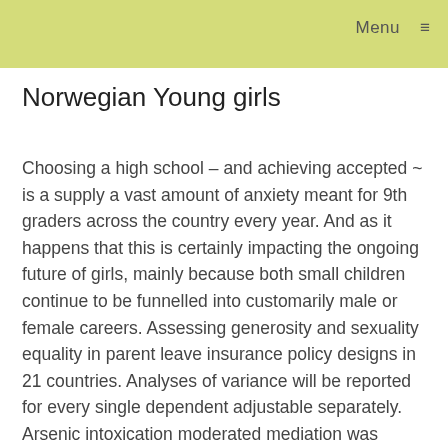Menu ≡
Norwegian Young girls
Choosing a high school – and achieving accepted ~ is a supply a vast amount of anxiety meant for 9th graders across the country every year. And as it happens that this is certainly impacting the ongoing future of girls, mainly because both small children continue to be funnelled into customarily male or female careers. Assessing generosity and sexuality equality in parent leave insurance policy designs in 21 countries. Analyses of variance will be reported for every single dependent adjustable separately. Arsenic intoxication moderated mediation was identified using a catalog of moderated mediation. Through this article, p-values of zero. 05 or